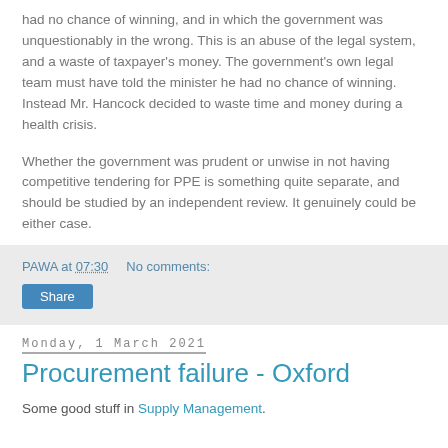had no chance of winning, and in which the government was unquestionably in the wrong.  This is an abuse of the legal system, and a waste of taxpayer's money.  The government's own legal team must have told the minister he had no chance of winning.  Instead Mr. Hancock decided to waste time and money during a health crisis.
Whether the government was prudent or unwise in not having competitive tendering for PPE is something quite separate, and should be studied by an independent review. It genuinely could be either case.
PAWA at 07:30    No comments:
Share
Monday, 1 March 2021
Procurement failure - Oxford
Some good stuff in Supply Management.